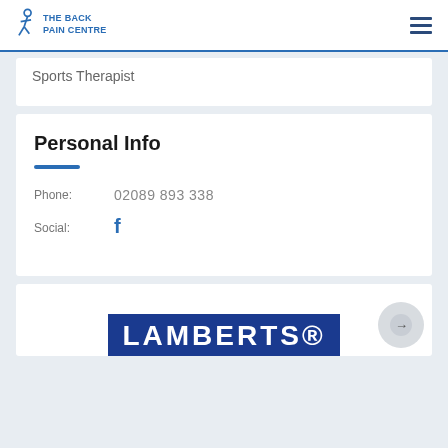The Back Pain Centre
Sports Therapist
Personal Info
Phone: 02089 893 338
Social: [Facebook icon]
[Figure (logo): LAMBERTS logo in white text on blue background]